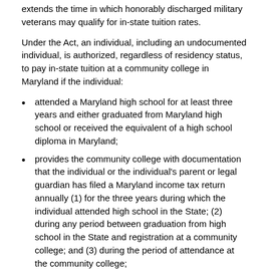extends the time in which honorably discharged military veterans may qualify for in-state tuition rates.
Under the Act, an individual, including an undocumented individual, is authorized, regardless of residency status, to pay in-state tuition at a community college in Maryland if the individual:
attended a Maryland high school for at least three years and either graduated from Maryland high school or received the equivalent of a high school diploma in Maryland;
provides the community college with documentation that the individual or the individual's parent or legal guardian has filed a Maryland income tax return annually (1) for the three years during which the individual attended high school in the State; (2) during any period between graduation from high school in the State and registration at a community college; and (3) during the period of attendance at the community college;
provides an affidavit stating that the individual will file an application to become a permanent resident within 30 days after the individual becomes eligible to do so, if the individual is not a permanent resident;
provides documentation that the individual registered and